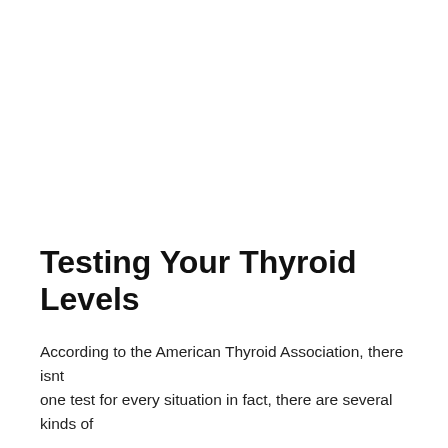Testing Your Thyroid Levels
According to the American Thyroid Association, there isnt one test for every situation in fact, there are several kinds of